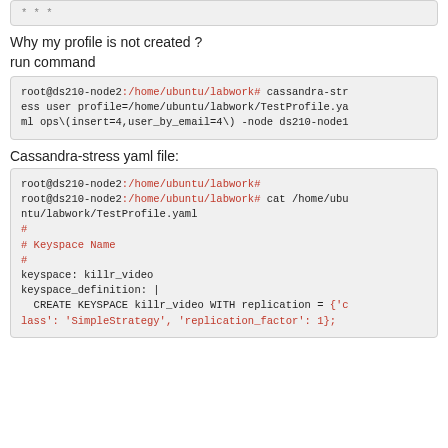* * *
Why my profile is not created ?
run command
root@ds210-node2:/home/ubuntu/labwork# cassandra-stress user profile=/home/ubuntu/labwork/TestProfile.yaml ops\(insert=4,user_by_email=4\) -node ds210-node1
Cassandra-stress yaml file:
root@ds210-node2:/home/ubuntu/labwork#
root@ds210-node2:/home/ubuntu/labwork# cat /home/ubuntu/labwork/TestProfile.yaml
#
# Keyspace Name
#
keyspace: killr_video
keyspace_definition: |
  CREATE KEYSPACE killr_video WITH replication = {'class': 'SimpleStrategy', 'replication_factor': 1};